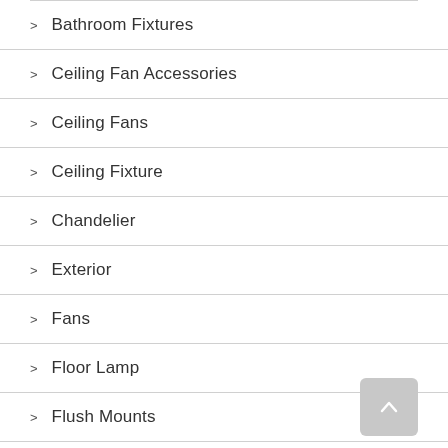Bathroom Fixtures
Ceiling Fan Accessories
Ceiling Fans
Ceiling Fixture
Chandelier
Exterior
Fans
Floor Lamp
Flush Mounts
Foyer